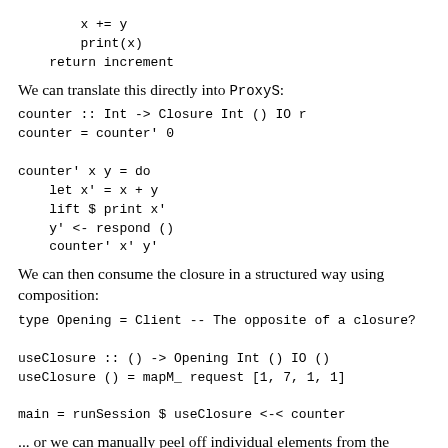x += y
        print(x)
    return increment
We can translate this directly into ProxyS:
counter :: Int -> Closure Int () IO r
counter = counter' 0

counter' x y = do
    let x' = x + y
    lift $ print x'
    y' <- respond ()
    counter' x' y'
We can then consume the closure in a structured way using composition:
type Opening = Client -- The opposite of a closure?

useClosure :: () -> Opening Int () IO ()
useClosure () = mapM_ request [1, 7, 1, 1]

main = runSession $ useClosure <-< counter
... or we can manually peel off individual elements from the closure using runFreeT: